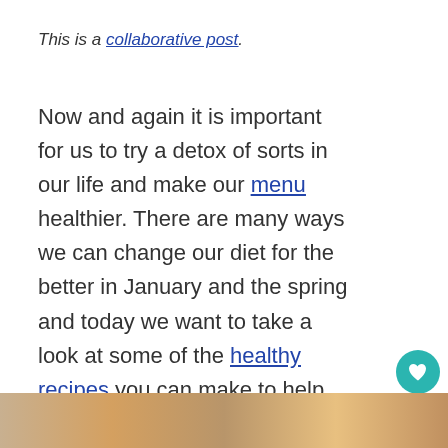This is a collaborative post.
Now and again it is important for us to try a detox of sorts in our life and make our menu healthier. There are many ways we can change our diet for the better in January and the spring and today we want to take a look at some of the healthy recipes you can make to help you detox and feel fresher as well as leaner this month.
[Figure (photo): Bottom strip showing a food or lifestyle photo, partially visible at the bottom of the page.]